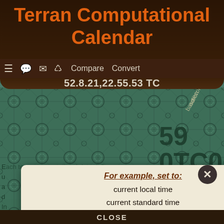Terran Computational Calendar
[Figure (screenshot): Navigation bar with hamburger menu icon, speech bubble icon, envelope icon, refresh/sync icon, Compare and Convert links]
52.8.21,22.55.53 TC
For example, set to:
current local time
current standard time
TC Epoch
25th UTC leap second
25th TC leap second
Each terran computational date defines an exact...
Terran Computational date:
9 . 0 . 10 , 0 . 0 . 0 TC
[year base] [datemod]
UTC date:
minute, second, frac..., ignator, datemod
CLOSE